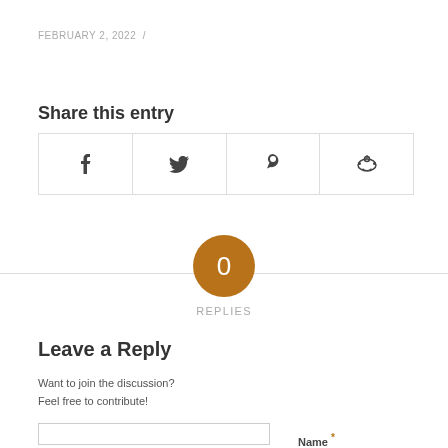FEBRUARY 2, 2022 /
Share this entry
[Figure (infographic): Four social share buttons in a row: Facebook (f), Twitter (bird), Pinterest (p), Reddit (alien icon), each in a bordered cell]
[Figure (infographic): Orange circle with '0' in center, horizontal divider line behind it, 'REPLIES' label below]
Leave a Reply
Want to join the discussion?
Feel free to contribute!
Name *